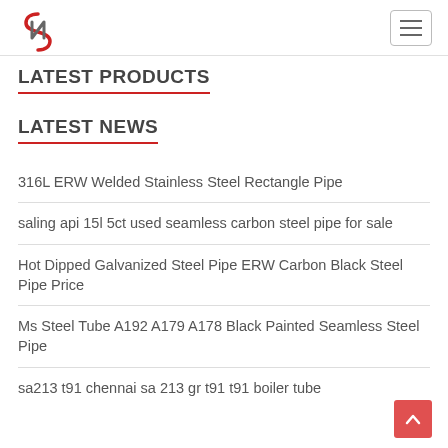LATEST PRODUCTS
LATEST NEWS
316L ERW Welded Stainless Steel Rectangle Pipe
saling api 15l 5ct used seamless carbon steel pipe for sale
Hot Dipped Galvanized Steel Pipe ERW Carbon Black Steel Pipe Price
Ms Steel Tube A192 A179 A178 Black Painted Seamless Steel Pipe
sa213 t91 chennai sa 213 gr t91 t91 boiler tube